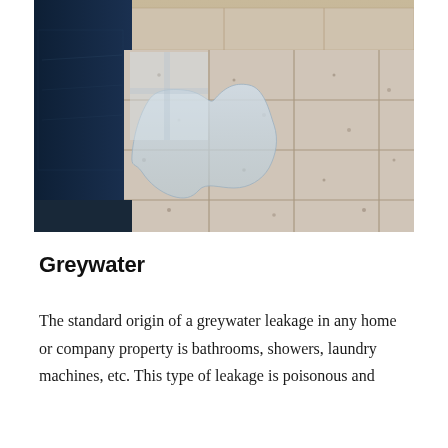[Figure (photo): Photograph of a tiled floor with a water puddle/leakage near a dark blue appliance or door at the left, with beige speckled floor tiles and a tiled wall/baseboard in the background.]
Greywater
The standard origin of a greywater leakage in any home or company property is bathrooms, showers, laundry machines, etc. This type of leakage is poisonous and